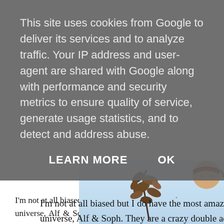This site uses cookies from Google to deliver its services and to analyze traffic. Your IP address and user-agent are shared with Google along with performance and security metrics to ensure quality of service, generate usage statistics, and to detect and address abuse.
LEARN MORE   OK
I'm not at all biased but I do have the most amazing kids in the universe, Alf & Soph. They are a crazy double act and are best friends, live a manic fun packed life with heaps of cuddles, days out and fun. Soph has just turned six, the years are flying by! We have two pet cats as well as three actual cats Teddy, Sonny & Dexter.
[Figure (photo): A photo showing leaves being tossed in the air against a light blue sky background, with what appears to be a child wearing a red/burgundy bandana visible on the right side of the frame.]